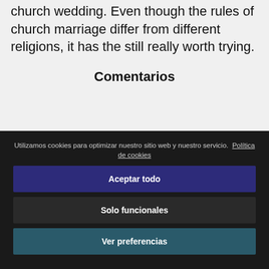church wedding. Even though the rules of church marriage differ from different religions, it has the still really worth trying.
Comentarios
[Figure (illustration): A neutral smiley face icon (circle with two eyes, no mouth expression), partially visible at top of comments section]
Utilizamos cookies para optimizar nuestro sitio web y nuestro servicio. Política de cookies
Aceptar todo
Solo funcionales
Ver preferencias
Añadir comentario
Nombre
Your Name